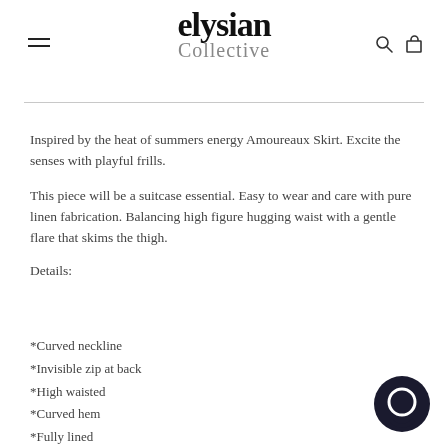elysian Collective — navigation header with hamburger menu, logo, search and cart icons
Inspired by the heat of summers energy Amoureaux Skirt. Excite the senses with playful frills.
This piece will be a suitcase essential. Easy to wear and care with pure linen fabrication. Balancing high figure hugging waist with a gentle flare that skims the thigh.
Details:
*Curved neckline
*Invisible zip at back
*High waisted
*Curved hem
*Fully lined